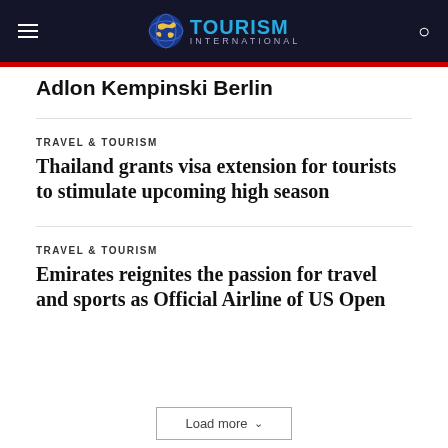TOURISM INTERNATIONAL
Adlon Kempinski Berlin
TRAVEL & TOURISM
Thailand grants visa extension for tourists to stimulate upcoming high season
TRAVEL & TOURISM
Emirates reignites the passion for travel and sports as Official Airline of US Open
Load more